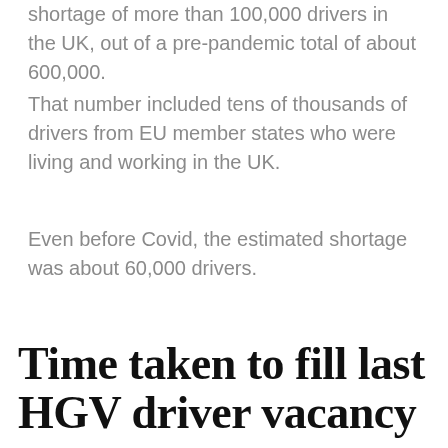shortage of more than 100,000 drivers in the UK, out of a pre-pandemic total of about 600,000.
That number included tens of thousands of drivers from EU member states who were living and working in the UK.
Even before Covid, the estimated shortage was about 60,000 drivers.
Time taken to fill last HGV driver vacancy